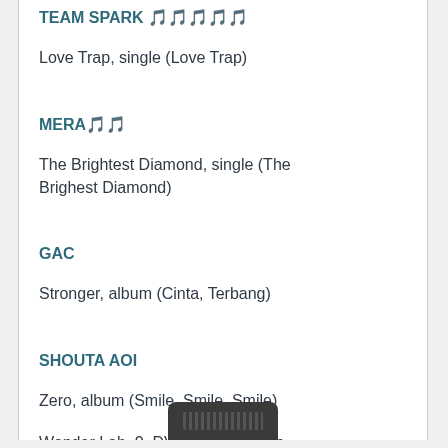TEAM SPARK 🎵🎵🎵🎵🎵
Love Trap, single (Love Trap)
MERA🎵🎵
The Brightest Diamond, single (The Brighest Diamond)
GAC
Stronger, album (Cinta, Terbang)
SHOUTA AOI
Zero, album (Smile, Smile, Smile)
Wonder Lab. 0 ,DVD (Smile, Smile, Smile)